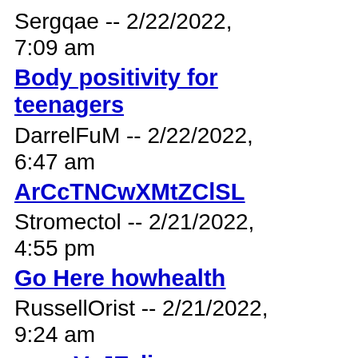Sergqae -- 2/22/2022, 7:09 am
Body positivity for teenagers
DarrelFuM -- 2/22/2022, 6:47 am
ArCcTNCwXMtZClSL
Stromectol -- 2/21/2022, 4:55 pm
Go Here howhealth
RussellOrist -- 2/21/2022, 9:24 am
wmmVeJEzli